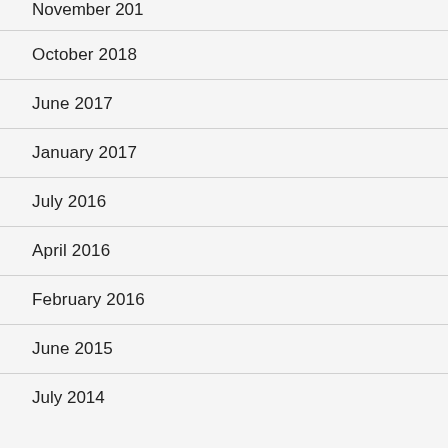November 2019
October 2018
June 2017
January 2017
July 2016
April 2016
February 2016
June 2015
July 2014